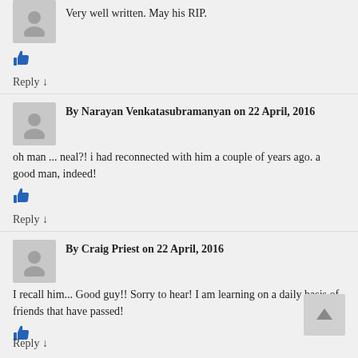Very well written. May his RIP.
👍 (like)
Reply ↓
By Narayan Venkatasubramanyan on 22 April, 2016
oh man ... neal?! i had reconnected with him a couple of years ago. a good man, indeed!
👍 (like)
Reply ↓
By Craig Priest on 22 April, 2016
I recall him... Good guy!! Sorry to hear! I am learning on a daily basis of friends that have passed!
👍 (like)
Reply ↓